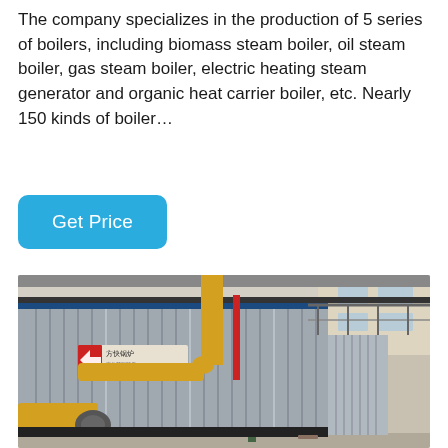The company specializes in the production of 5 series of boilers, including biomass steam boiler, oil steam boiler, gas steam boiler, electric heating steam generator and organic heat carrier boiler, etc. Nearly 150 kinds of boiler…
[Figure (other): Button labeled 'Get Price' with blue rounded rectangle background]
[Figure (photo): Industrial boiler facility interior showing large corrugated metal boiler unit with yellow gas pipes and fittings, red pipe, company logo on unit, inside a factory/warehouse building]